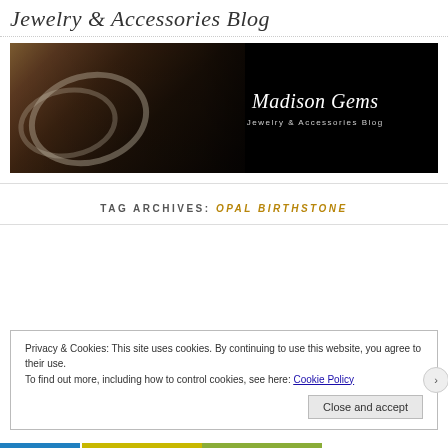Jewelry & Accessories Blog
[Figure (photo): Dark banner photo of a woman wearing silver chain necklace and rings, with 'Madison Gems – Jewelry & Accessories Blog' text overlay on black background]
TAG ARCHIVES: OPAL BIRTHSTONE
Privacy & Cookies: This site uses cookies. By continuing to use this website, you agree to their use.
To find out more, including how to control cookies, see here: Cookie Policy
Close and accept